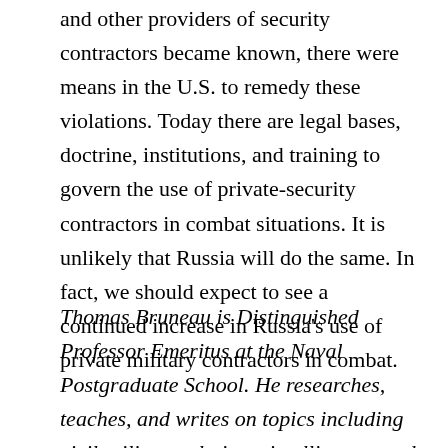and other providers of security contractors became known, there were means in the U.S. to remedy these violations. Today there are legal bases, doctrine, institutions, and training to govern the use of private-security contractors in combat situations. It is unlikely that Russia will do the same. In fact, we should expect to see a continued increase in Russia's use of private military contractors in combat.
Thomas Bruneau is Distinguished Professor Emeritus at the Naval Postgraduate School. He researches, teaches, and writes on topics including civil-military relations, intelligence, and contracting out security. His Patriots for Profit: Contractors and the Military in U.S.